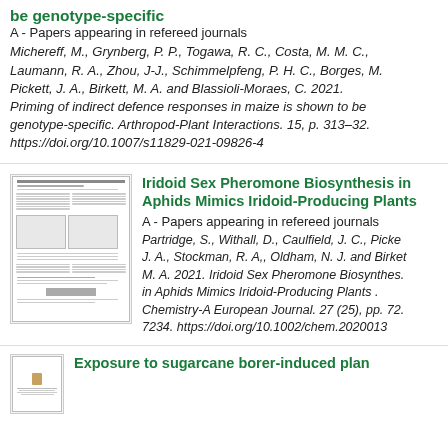be genotype-specific
A - Papers appearing in refereed journals
Michereff, M., Grynberg, P. P., Togawa, R. C., Costa, M. M. C., Laumann, R. A., Zhou, J-J., Schimmelpfeng, P. H. C., Borges, M. Pickett, J. A., Birkett, M. A. and Blassioli-Moraes, C. 2021. Priming of indirect defence responses in maize is shown to be genotype-specific. Arthropod-Plant Interactions. 15, p. 313–32. https://doi.org/10.1007/s11829-021-09826-4
[Figure (photo): Thumbnail image of a scientific journal article page]
Iridoid Sex Pheromone Biosynthesis in Aphids Mimics Iridoid-Producing Plants
A - Papers appearing in refereed journals
Partridge, S., Withall, D., Caulfield, J. C., Picke J. A., Stockman, R. A,, Oldham, N. J. and Birket M. A. 2021. Iridoid Sex Pheromone Biosynthes. in Aphids Mimics Iridoid-Producing Plants . Chemistry-A European Journal. 27 (25), pp. 72. 7234. https://doi.org/10.1002/chem.2020013
[Figure (photo): Small thumbnail image of a scientific journal article]
Exposure to sugarcane borer-induced plan